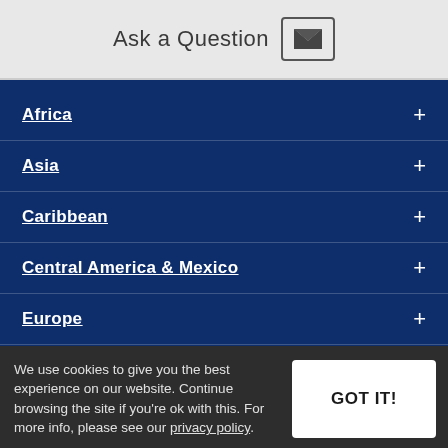Ask a Question
Africa +
Asia +
Caribbean +
Central America & Mexico +
Europe +
North America +
We use cookies to give you the best experience on our website. Continue browsing the site if you're ok with this. For more info, please see our privacy policy.